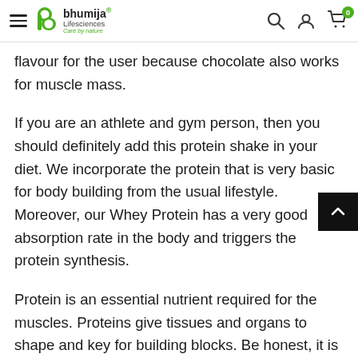bhumija® Lifesciences
flavour for the user because chocolate also works for muscle mass.
If you are an athlete and gym person, then you should definitely add this protein shake in your diet. We incorporate the protein that is very basic for body building from the usual lifestyle. Moreover, our Whey Protein has a very good absorption rate in the body and triggers the protein synthesis.
Protein is an essential nutrient required for the muscles. Proteins give tissues and organs to shape and key for building blocks. Be honest, it is not possible to add a proper diet for the protein. So, we bring the